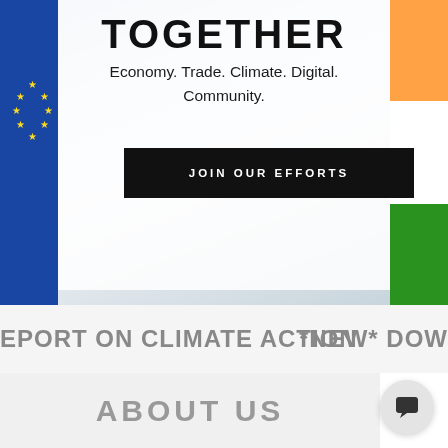[Figure (photo): Hero section with EU and India flags in background, white overlay panel, text and button overlay]
TOGETHER
Economy. Trade. Climate. Digital. Community.
JOIN OUR EFFORTS
EPORT ON CLIMATE ACTION   *NEW* DOW
ABOUT US